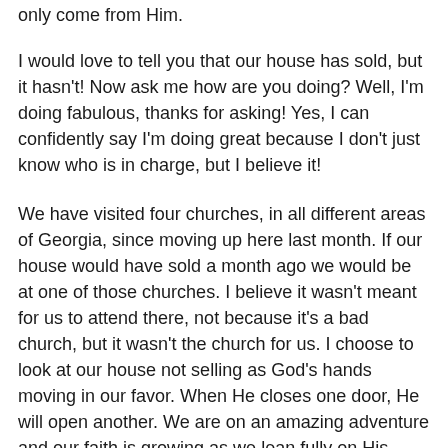only come from Him.
I would love to tell you that our house has sold, but it hasn't! Now ask me how are you doing? Well, I'm doing fabulous, thanks for asking! Yes, I can confidently say I'm doing great because I don't just know who is in charge, but I believe it!
We have visited four churches, in all different areas of Georgia, since moving up here last month. If our house would have sold a month ago we would be at one of those churches. I believe it wasn't meant for us to attend there, not because it's a bad church, but it wasn't the church for us. I choose to look at our house not selling as God's hands moving in our favor. When He closes one door, He will open another. We are on an amazing adventure and our faith is growing as we lean fully on His direction and